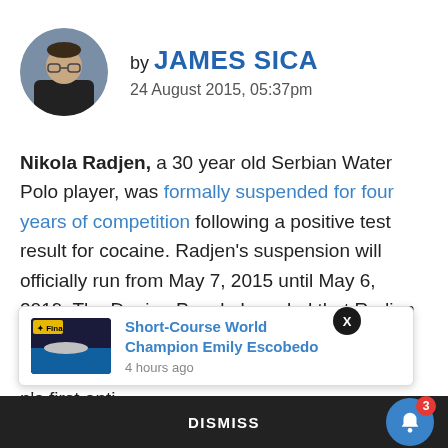[Figure (photo): Circular avatar photo of James Sica, a young man wearing glasses]
by JAMES SICA
24 August 2015, 05:37pm
Nikola Radjen, a 30 year old Serbian Water Polo player, was formally suspended for four years of competition following a positive test result for cocaine. Radjen's suspension will officially run from May 7, 2015 until May 6, 2019. The Doping Panel also ruled that Radjen would have all competition prizes annulled on and following February 17, 2015. This is Radjen's first anti-
[Figure (screenshot): Notification popup with thumbnail of swimmer and link: Short-Course World Champion Emily Escobedo, 4 hours ago]
DISMISS